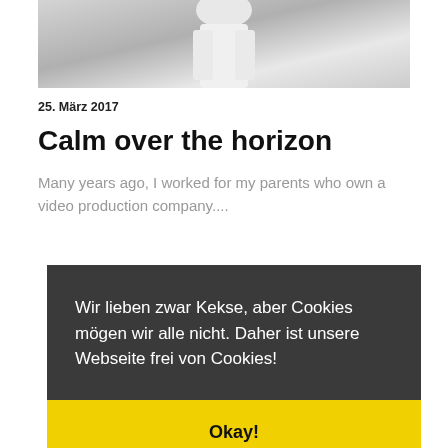[Figure (photo): Grayscale photo showing a figure in white clothing, partially visible, cropped at top of page]
25. März 2017
Calm over the horizon
Many years ago, I worked for my parents who own a video production company....
Wir lieben zwar Kekse, aber Cookies mögen wir alle nicht. Daher ist unsere Webseite frei von Cookies!
Okay!